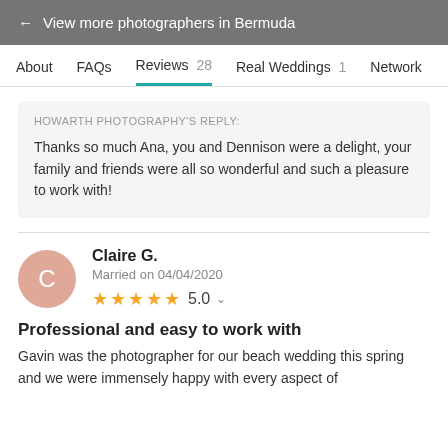← View more photographers in Bermuda
About   FAQs   Reviews 28   Real Weddings 1   Network
HOWARTH PHOTOGRAPHY'S REPLY:
Thanks so much Ana, you and Dennison were a delight, your family and friends were all so wonderful and such a pleasure to work with!
Claire G.
Married on 04/04/2020
★★★★★ 5.0
Professional and easy to work with
Gavin was the photographer for our beach wedding this spring and we were immensely happy with every aspect of